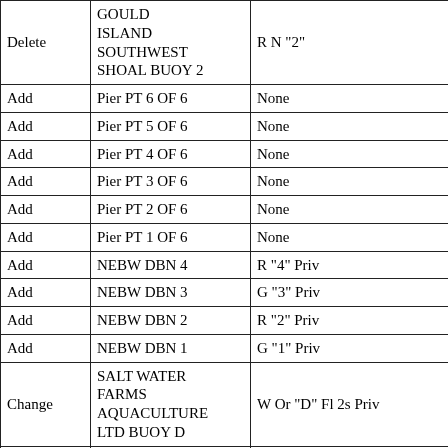| Action | Name | Light/Signal |
| --- | --- | --- |
| Delete | GOULD ISLAND SOUTHWEST SHOAL BUOY 2 | R N "2" |
| Add | Pier PT 6 OF 6 | None |
| Add | Pier PT 5 OF 6 | None |
| Add | Pier PT 4 OF 6 | None |
| Add | Pier PT 3 OF 6 | None |
| Add | Pier PT 2 OF 6 | None |
| Add | Pier PT 1 OF 6 | None |
| Add | NEBW DBN 4 | R "4" Priv |
| Add | NEBW DBN 3 | G "3" Priv |
| Add | NEBW DBN 2 | R "2" Priv |
| Add | NEBW DBN 1 | G "1" Priv |
| Change | SALT WATER FARMS AQUACULTURE LTD BUOY D | W Or "D" Fl 2s Priv |
| Change | SALT WATER FARMS AQUACULTURE ... | W Or "C" Fl 2s Priv |